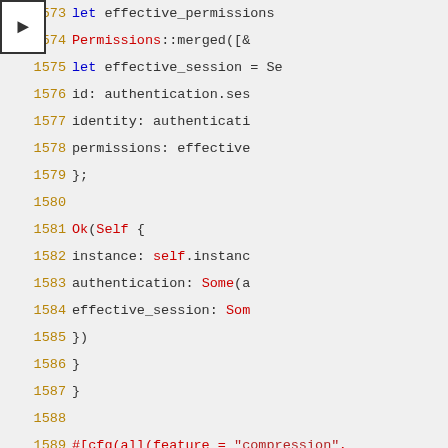[Figure (screenshot): Source code viewer showing Rust code lines 1573-1592, with line numbers in gold/brown, keywords in blue, types and function names in red, on a light gray background. A white box with a right-arrow indicator marks line 1573-1574.]
1573    let effective_permissions
1574        Permissions::merged([&
1575    let effective_session = Se
1576        id: authentication.ses
1577        identity: authenticati
1578        permissions: effective
1579    };
1580
1581    Ok(Self {
1582        instance: self.instanc
1583        authentication: Some(a
1584        effective_session: Som
1585    })
1586    }
1587 }
1588
1589 #[cfg(all(feature = "compression",
1590 impl TreeVault {
1591     pub(crate) fn new_if_needed(co
1592         compression.map(|compressi